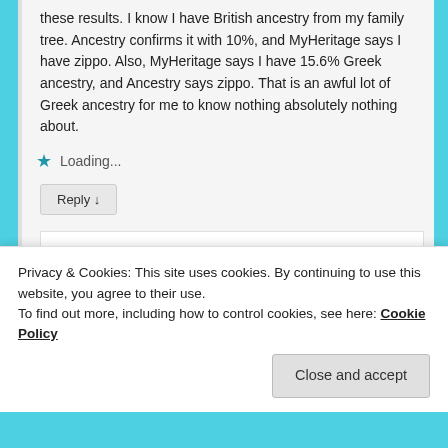these results. I know I have British ancestry from my family tree. Ancestry confirms it with 10%, and MyHeritage says I have zippo. Also, MyHeritage says I have 15.6% Greek ancestry, and Ancestry says zippo. That is an awful lot of Greek ancestry for me to know nothing absolutely nothing about.
★ Loading...
Reply ↓
Yolanda Vargas on August 1, 2017 at 4:58 am said:
Privacy & Cookies: This site uses cookies. By continuing to use this website, you agree to their use.
To find out more, including how to control cookies, see here: Cookie Policy
Close and accept